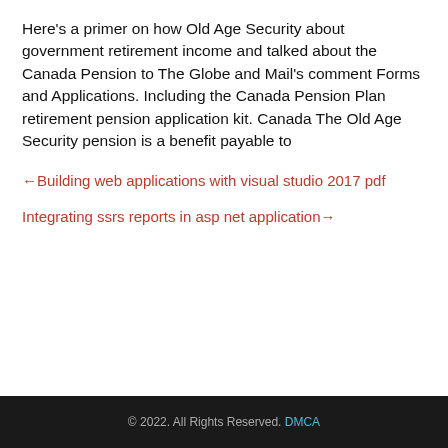Here’s a primer on how Old Age Security about government retirement income and talked about the Canada Pension to The Globe and Mail’s comment Forms and Applications. Including the Canada Pension Plan retirement pension application kit. Canada The Old Age Security pension is a benefit payable to
←Building web applications with visual studio 2017 pdf
Integrating ssrs reports in asp net application→
© 2022. All Rights Reserved. DMCA